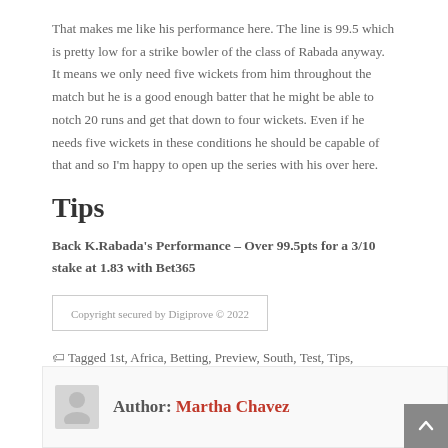That makes me like his performance here. The line is 99.5 which is pretty low for a strike bowler of the class of Rabada anyway. It means we only need five wickets from him throughout the match but he is a good enough batter that he might be able to notch 20 runs and get that down to four wickets. Even if he needs five wickets in these conditions he should be capable of that and so I'm happy to open up the series with his over here.
Tips
Back K.Rabada's Performance – Over 99.5pts for a 3/10 stake at 1.83 with Bet365
Copyright secured by Digiprove © 2022
Tagged 1st, Africa, Betting, Preview, South, Test, Tips, Zealand
Author: Martha Chavez